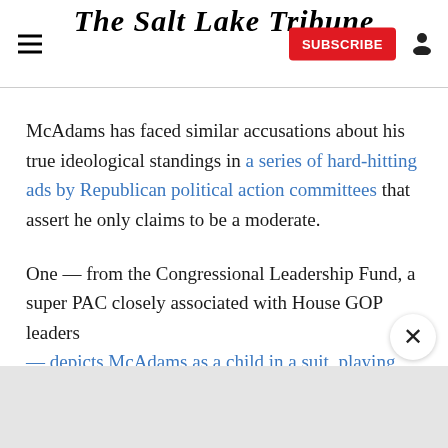The Salt Lake Tribune
McAdams has faced similar accusations about his true ideological standings in a series of hard-hitting ads by Republican political action committees that assert he only claims to be a moderate.
One — from the Congressional Leadership Fund, a super PAC closely associated with House GOP leaders — depicts McAdams as a child in a suit, playing